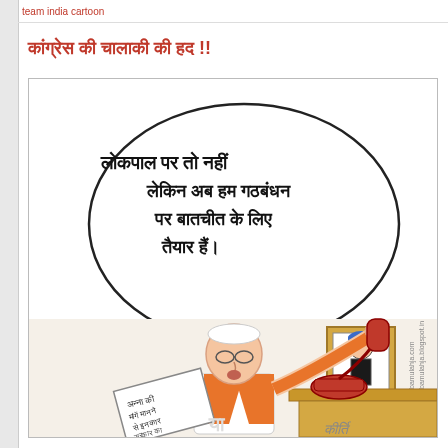team india cartoon
कांग्रेस की चालाकी की हद !!
[Figure (illustration): Political cartoon showing a man in white clothes and orange vest talking on a red telephone, holding a newspaper, with a framed portrait of a man with blue turban on the wall, and a speech bubble in Hindi reading: लोकपाल पर तो नहीं लेकिन अब हम गठबंधन पर बातचीत के लिए तैयार हैं। Watermark: bamulahja.com / bamulahja.blogspot.in]